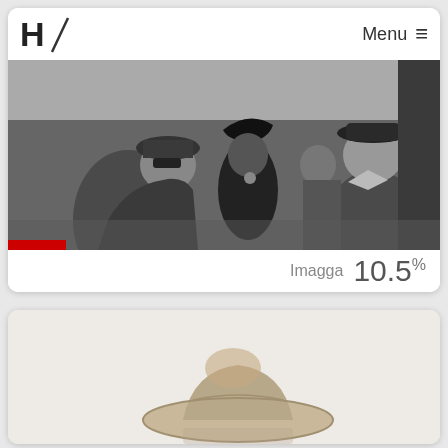H / Menu ≡
[Figure (photo): Black and white photograph showing people wearing hats, appears to be a historical scene with figures in formal attire]
Imagga  10.5%
[Figure (photo): Light-colored photograph showing a figure wearing a cowboy or wide-brimmed hat, partial view against a pale background]